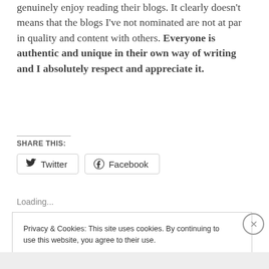genuinely enjoy reading their blogs. It clearly doesn't means that the blogs I've not nominated are not at par in quality and content with others. Everyone is authentic and unique in their own way of writing and I absolutely respect and appreciate it.
SHARE THIS:
Twitter   Facebook
Loading...
Privacy & Cookies: This site uses cookies. By continuing to use this website, you agree to their use. To find out more, including how to control cookies, see here: Cookie Policy
Close and accept